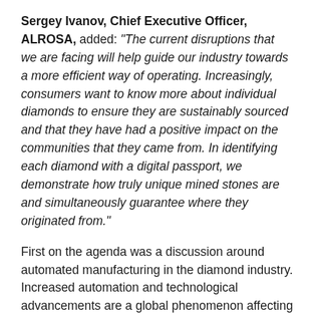Sergey Ivanov, Chief Executive Officer, ALROSA, added: "The current disruptions that we are facing will help guide our industry towards a more efficient way of operating. Increasingly, consumers want to know more about individual diamonds to ensure they are sustainably sourced and that they have had a positive impact on the communities that they came from. In identifying each diamond with a digital passport, we demonstrate how truly unique mined stones are and simultaneously guarantee where they originated from."
First on the agenda was a discussion around automated manufacturing in the diamond industry. Increased automation and technological advancements are a global phenomenon affecting every sector, and the diamond supply chain is no